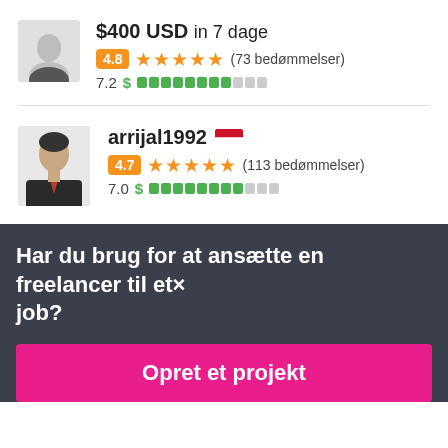[Figure (photo): Avatar photo of a person (top, partially visible)]
$400 USD in 7 dage
4.8 ★★★★★ (73 bedømmelser)
7.2 $ ████████░░░
[Figure (photo): Avatar photo of arrijal1992]
arrijal1992
4.7 ★★★★★ (113 bedømmelser)
7.0 $ ████████░░░
Har du brug for at ansætte en freelancer til et job?
Opret et projekt